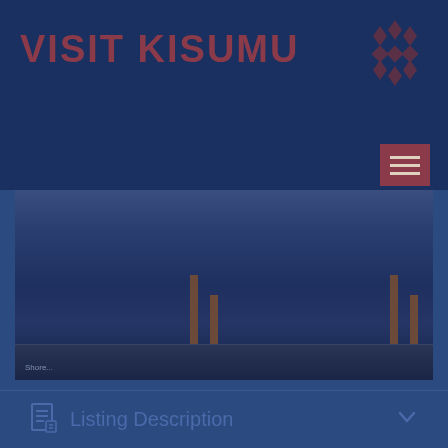[Figure (screenshot): Visit Kisumu tourism website screenshot showing the logo 'VISIT KISUMU' with decorative geometric pattern mark, a hamburger menu button, and a photo of what appears to be a waterfront/dock scene with pier posts]
Listing Description